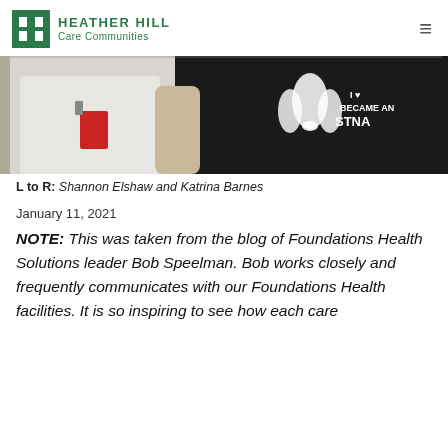HEATHER HILL Care Communities
[Figure (photo): Two people posing together. One wearing a white/gray sweater with a badge, the other wearing a black t-shirt that reads 'I BECAME AN STNA']
L to R: Shannon Elshaw and Katrina Barnes
January 11, 2021
NOTE: This was taken from the blog of Foundations Health Solutions leader Bob Speelman. Bob works closely and frequently communicates with our Foundations Health facilities. It is so inspiring to see how each care